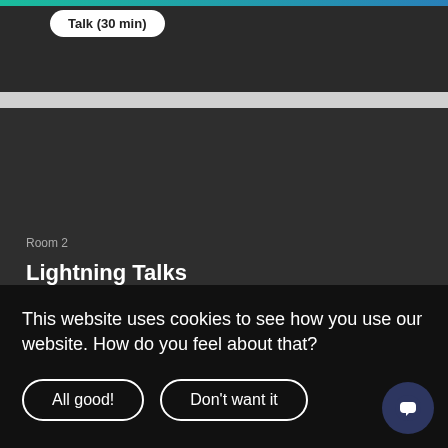Talk (30 min)
Room 2
Lightning Talks
Peder Voldnes Langdal
Amy Kapernick
Nikolai Norman Andersen
Erik Assum
This website uses cookies to see how you use our website. How do you feel about that?
All good!
Don't want it